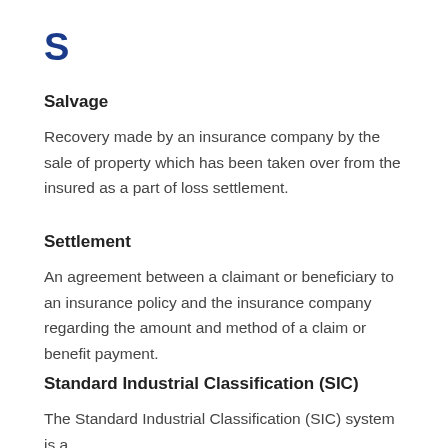S
Salvage
Recovery made by an insurance company by the sale of property which has been taken over from the insured as a part of loss settlement.
Settlement
An agreement between a claimant or beneficiary to an insurance policy and the insurance company regarding the amount and method of a claim or benefit payment.
Standard Industrial Classification (SIC)
The Standard Industrial Classification (SIC) system is a